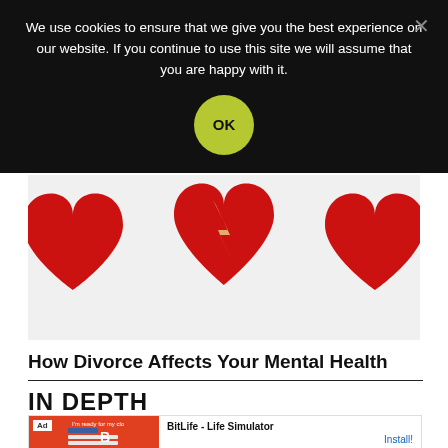We use cookies to ensure that we give you the best experience on our website. If you continue to use this site we will assume that you are happy with it.
[Figure (photo): Cookie consent OK button on dark overlay]
[Figure (photo): Three red heart shapes on white background, one broken/cracked heart in the center]
How Divorce Affects Your Mental Health
IN DEPTH
[Figure (screenshot): Advertisement banner: BitLife - Life Simulator with Install! button]